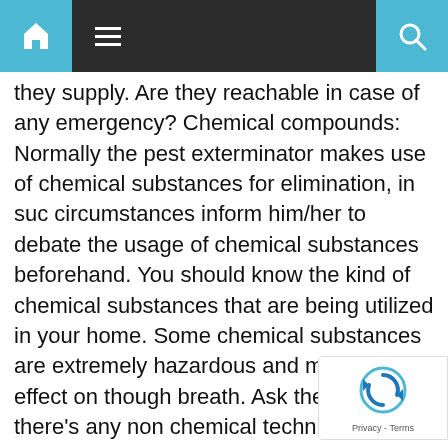Navigation bar with home, menu, and search icons
they supply. Are they reachable in case of any emergency? Chemical compounds: Normally the pest exterminator makes use of chemical substances for elimination, in suc circumstances inform him/her to debate the usage of chemical substances beforehand. You should know the kind of chemical substances that are being utilized in your home. Some chemical substances are extremely hazardous and may have an effect on though breath. Ask the skilled if there's any non chemical technique and see if it matches into your necessities or not. Assure: Final however definitely not the least is the assure. Are the companies coming with a complete assurance of elimination of all of the pests without end?